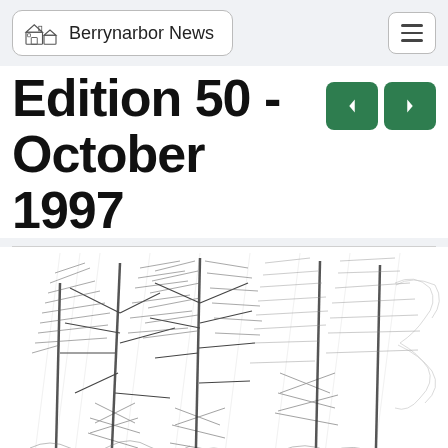Berrynarbor News
Edition 50 - October 1997
[Figure (illustration): A detailed pencil sketch/line drawing of trees in a woodland or forest scene, with dense hatching and cross-hatching depicting foliage, branches, and undergrowth.]